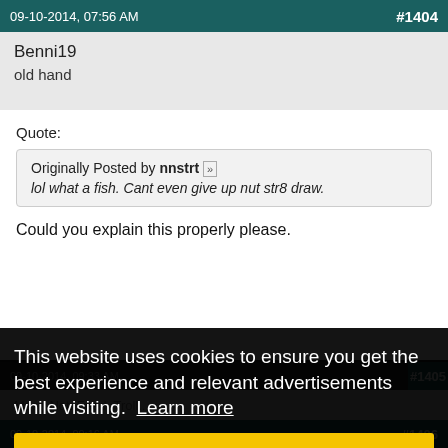09-10-2014, 07:56 AM   #1404
Benni19
old hand
Quote:
Originally Posted by nnstrt
lol what a fish. Cant even give up nut str8 draw.

Could you explain this properly please.
09-10-2014, 09:33 AM   #1405
Must. Not. Feed. Troll....
09-10-2014, 09:16 AM   #1406
This website uses cookies to ensure you get the best experience and relevant advertisements while visiting. Learn more
Got it!